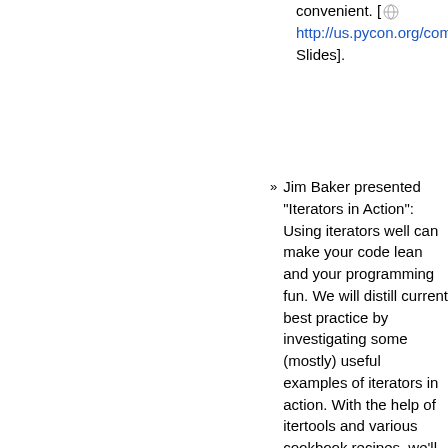convenient. [ http://us.pycon.org/comme Slides].
Jim Baker presented "Iterators in Action": Using iterators well can make your code lean and your programming fun. We will distill current best practice by investigating some (mostly) useful examples of iterators in action. With the help of itertools and various cookbook recipes, we'll look at such examples as computing Six Sigma stats.